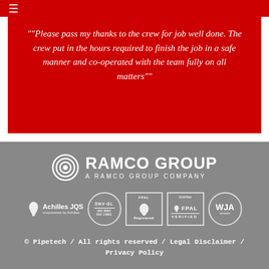[Figure (logo): Hamburger menu icon (three horizontal lines) in white on red bar]
""Please pass my thanks to the crew for job well done. The crew put in the hours required to finish the job in a safe manner and co-operated with the team fully on all matters""
[Figure (logo): Ramco Group logo with circular target icon and text RAMCO GROUP / A RAMCO GROUP COMPANY in white on grey background]
[Figure (logo): Row of certification logos: Achilles JQS, DNV-GL ISO 9001/ISO 14001, FPAL Registered, Achilles FPAL Verified, WJA circular badge]
© Pipetech / All rights reserved / Legal Disclaimer / Privacy Policy